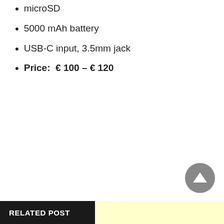microSD
5000 mAh battery
USB-C input, 3.5mm jack
Price:  € 100 – € 120
RELATED POST